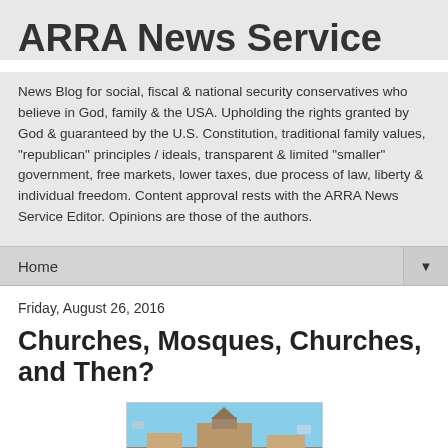ARRA News Service
News Blog for social, fiscal & national security conservatives who believe in God, family & the USA. Upholding the rights granted by God & guaranteed by the U.S. Constitution, traditional family values, "republican" principles / ideals, transparent & limited "smaller" government, free markets, lower taxes, due process of law, liberty & individual freedom. Content approval rests with the ARRA News Service Editor. Opinions are those of the authors.
Home ▼
Friday, August 26, 2016
Churches, Mosques, Churches, and Then?
[Figure (photo): Photo of a church or mosque building against a blue sky]